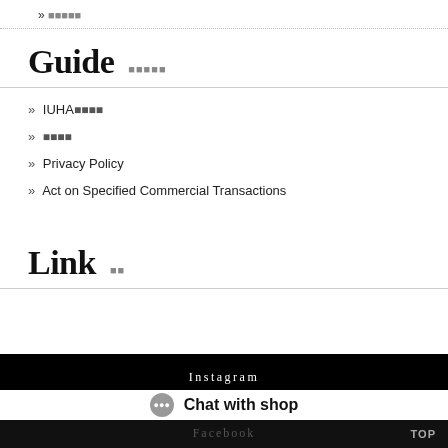» ■■■■■
Guide　■■■■■
» IUHA■■■■
» ■■■■
» Privacy Policy
» Act on Specified Commercial Transactions
Link　■■
[Figure (screenshot): Black banner with 'Instagram' text, chat bar with 'Chat with shop' button, and Facebook label at bottom with TOP button]